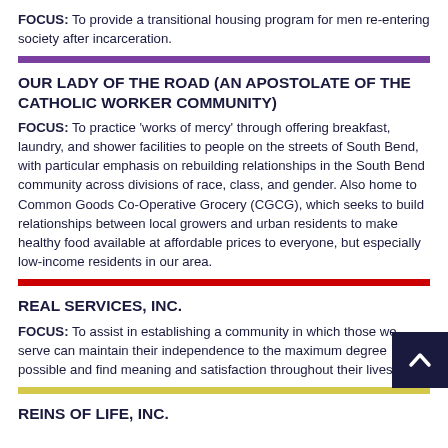FOCUS: To provide a transitional housing program for men re-entering society after incarceration.
OUR LADY OF THE ROAD (AN APOSTOLATE OF THE CATHOLIC WORKER COMMUNITY)
FOCUS: To practice 'works of mercy' through offering breakfast, laundry, and shower facilities to people on the streets of South Bend, with particular emphasis on rebuilding relationships in the South Bend community across divisions of race, class, and gender. Also home to Common Goods Co-Operative Grocery (CGCG), which seeks to build relationships between local growers and urban residents to make healthy food available at affordable prices to everyone, but especially low-income residents in our area.
REAL SERVICES, INC.
FOCUS: To assist in establishing a community in which those we serve can maintain their independence to the maximum degree possible and find meaning and satisfaction throughout their lives.
REINS OF LIFE, INC.